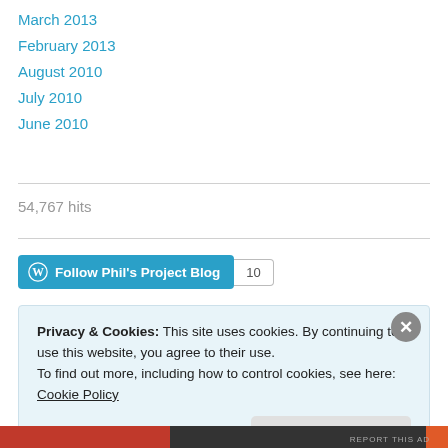March 2013
February 2013
August 2010
July 2010
June 2010
54,767 hits
[Figure (other): Follow Phil's Project Blog button with WordPress icon and follower count of 10]
Privacy & Cookies: This site uses cookies. By continuing to use this website, you agree to their use. To find out more, including how to control cookies, see here: Cookie Policy
Close and accept